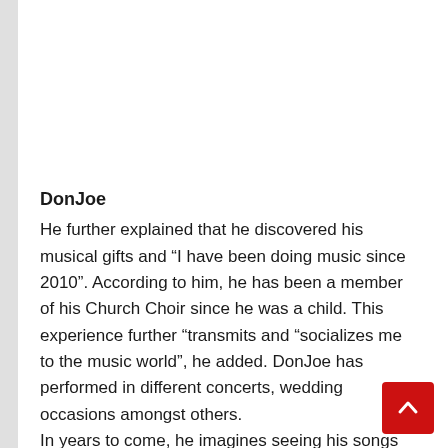DonJoe
He further explained that he discovered his musical gifts and “I have been doing music since 2010”. According to him, he has been a member of his Church Choir since he was a child. This experience further “transmits and “socializes me to the music world”, he added. DonJoe has performed in different concerts, wedding occasions amongst others.
In years to come, he imagines seeing his songs going viral and reaching superstardom both in